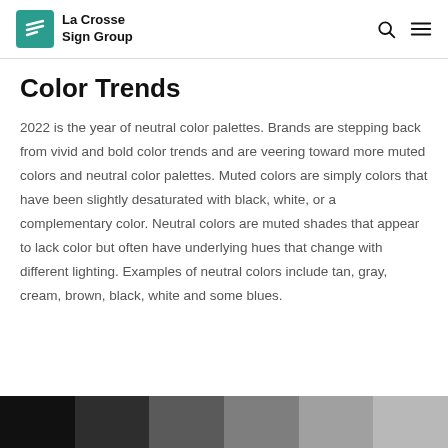La Crosse Sign Group
Color Trends
2022 is the year of neutral color palettes. Brands are stepping back from vivid and bold color trends and are veering toward more muted colors and neutral color palettes. Muted colors are simply colors that have been slightly desaturated with black, white, or a complementary color. Neutral colors are muted shades that appear to lack color but often have underlying hues that change with different lighting. Examples of neutral colors include tan, gray, cream, brown, black, white and some blues.
[Figure (other): Six color swatches showing a gradient from black to light gray/silver]